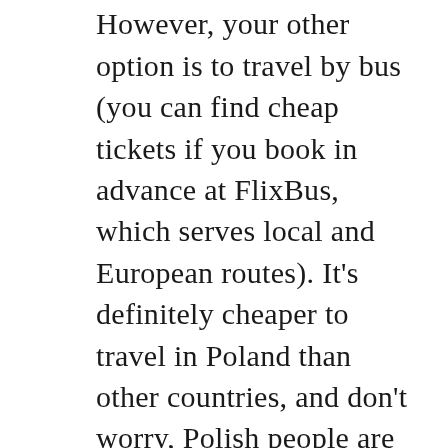around the country easier. However, your other option is to travel by bus (you can find cheap tickets if you book in advance at FlixBus, which serves local and European routes). It's definitely cheaper to travel in Poland than other countries, and don't worry, Polish people are highly educated and more people can speak English now than ever before. Also buying train tickets should not be a problem, at the station, there are machines where you can buy tickets, with the information given in English and other languages.